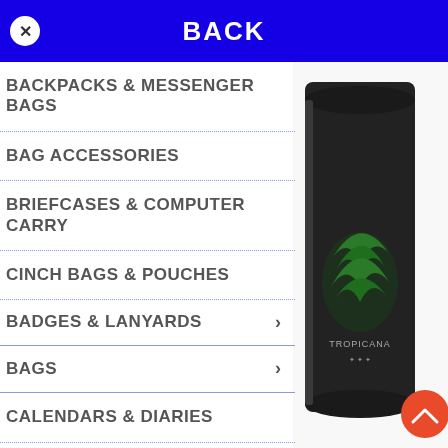BACK
BACKPACKS & MESSENGER BAGS
BAG ACCESSORIES
BRIEFCASES & COMPUTER CARRY
CINCH BAGS & POUCHES
BADGES & LANYARDS
BAGS
CALENDARS & DIARIES
CAPS & HATS
[Figure (photo): Black cylindrical promotional drinkware/can cooler with a green tropical leaf logo and text 'TROPICANA' on it, photographed against white background]